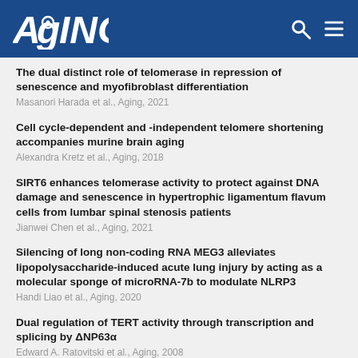AGING
The dual distinct role of telomerase in repression of senescence and myofibroblast differentiation
Masanori Harada et al., Aging, 2021
Cell cycle-dependent and -independent telomere shortening accompanies murine brain aging
Alexandra Kretz et al., Aging, 2018
SIRT6 enhances telomerase activity to protect against DNA damage and senescence in hypertrophic ligamentum flavum cells from lumbar spinal stenosis patients
Jianwei Chen et al., Aging, 2021
Silencing of long non-coding RNA MEG3 alleviates lipopolysaccharide-induced acute lung injury by acting as a molecular sponge of microRNA-7b to modulate NLRP3
Handi Liao et al., Aging, 2020
Dual regulation of TERT activity through transcription and splicing by ΔNP63α
Edward A. Ratovitski et al., Aging, 2008